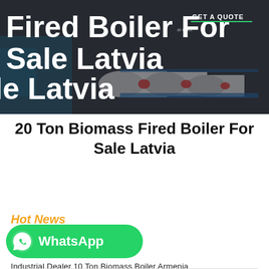[Figure (photo): Hero banner image showing industrial biomass fired boilers in a dark-themed header with white bold title text 'Fired Boiler For Sale Latvia' and a GET A QUOTE button overlay]
20 Ton Biomass Fired Boiler For Sale Latvia
Hot News
[Figure (infographic): Green WhatsApp button with WhatsApp logo icon and text 'WhatsApp']
Industrial Dealer 10 Ton Biomass Boiler Armenia